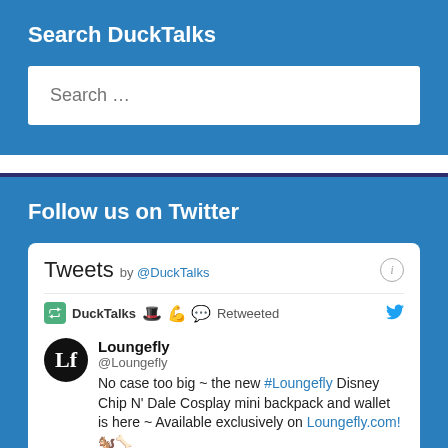Search DuckTalks
[Figure (screenshot): Search input box with placeholder text 'Search ...']
Follow us on Twitter
[Figure (screenshot): Twitter widget showing Tweets by @DuckTalks. DuckTalks Retweeted a post by Loungefly (@Loungefly): 'No case too big ~ the new #Loungefly Disney Chip N' Dale Cosplay mini backpack and wallet is here ~ Available exclusively on Loungefly.com!']